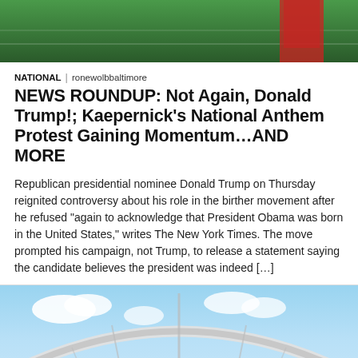[Figure (photo): Top portion of a sports image showing a football field with a player in a red jersey]
NATIONAL | ronewolbbaltimore
NEWS ROUNDUP: Not Again, Donald Trump!; Kaepernick’s National Anthem Protest Gaining Momentum…AND MORE
Republican presidential nominee Donald Trump on Thursday reignited controversy about his role in the birther movement after he refused “again to acknowledge that President Obama was born in the United States,” writes The New York Times. The move prompted his campaign, not Trump, to release a statement saying the candidate believes the president was indeed […]
[Figure (photo): Aerial view of a large football stadium with a distinctive arched roof structure, packed with spectators]
• • •